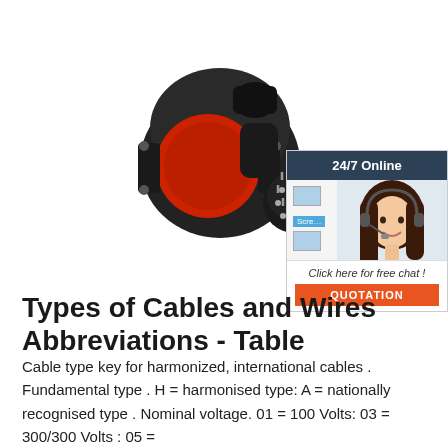[Figure (photo): Black industrial electrical connector/plug with red circular face and separate multi-pin insert component]
[Figure (photo): 24/7 Online chat widget with female customer service agent wearing headset, showing screen/punch icon options, 'Click here for free chat!' text, and orange QUOTATION button]
Types of Cables and Wires Abbreviations - Table
Cable type key for harmonized, international cables . Fundamental type . H = harmonised type: A = nationally recognised type . Nominal voltage. 01 = 100 Volts: 03 = 300/300 Volts : 05 =